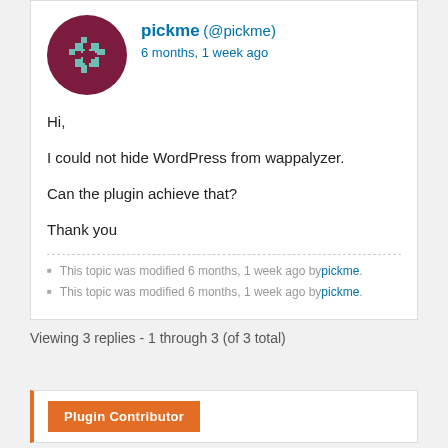[Figure (illustration): User avatar: dark red/maroon circle with a pixel-art puzzle piece icon in teal/cyan color]
pickme (@pickme)
6 months, 1 week ago
Hi,

I could not hide WordPress from wappalyzer.

Can the plugin achieve that?

Thank you
This topic was modified 6 months, 1 week ago by pickme.
This topic was modified 6 months, 1 week ago by pickme.
Viewing 3 replies - 1 through 3 (of 3 total)
Plugin Contributor